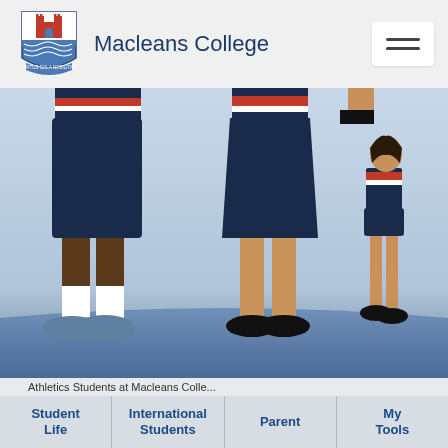[Figure (logo): Macleans College crest/shield logo — red castle tower on blue and white shield with wavy lines and banner]
Macleans College
[Figure (photo): Athletics students wearing Macleans College sports uniforms — navy and red/white striped sports tops with navy shorts/skirts. Three figures shown: male in navy shorts, female in navy skirt, and a female athlete in navy crop top and shorts.]
Athletics Students at Macleans Colle...
Student Life
International Students
Parent
My Tools